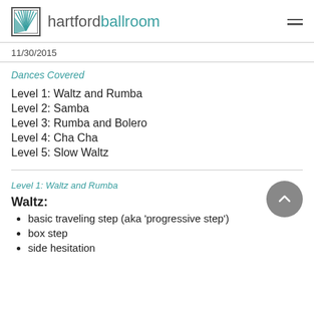hartfordballroom
11/30/2015
Dances Covered
Level 1: Waltz and Rumba
Level 2: Samba
Level 3: Rumba and Bolero
Level 4: Cha Cha
Level 5: Slow Waltz
Level 1: Waltz and Rumba
Waltz:
basic traveling step (aka 'progressive step')
box step
side hesitation